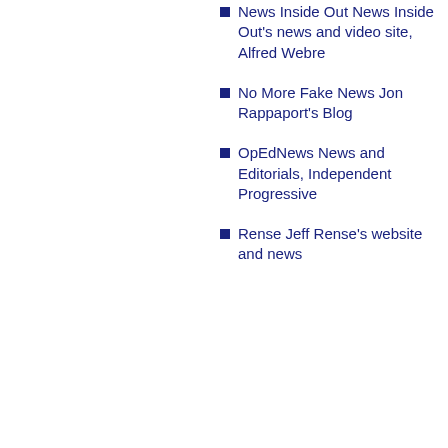News Inside Out News Inside Out's news and video site, Alfred Webre
No More Fake News Jon Rappaport's Blog
OpEdNews News and Editorials, Independent Progressive
Rense Jeff Rense's website and news